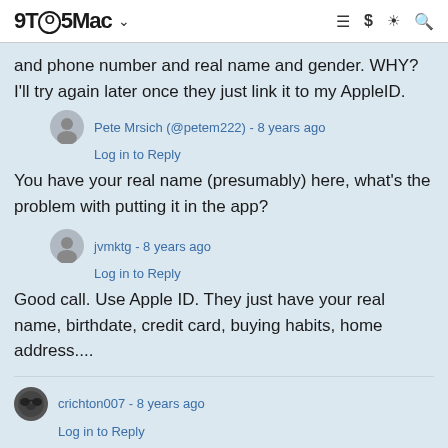9TO5Mac
and phone number and real name and gender. WHY? I'll try again later once they just link it to my AppleID.
Pete Mrsich (@petem222) - 8 years ago
Log in to Reply
You have your real name (presumably) here, what's the problem with putting it in the app?
jvmktg - 8 years ago
Log in to Reply
Good call. Use Apple ID. They just have your real name, birthdate, credit card, buying habits, home address....
crichton007 - 8 years ago
Log in to Reply